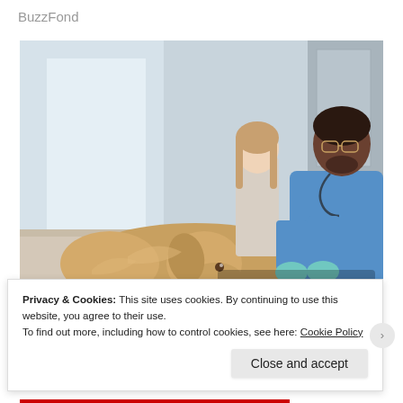BuzzFond
[Figure (photo): A veterinarian in blue scrubs and teal gloves examining a golden retriever dog on a clinic table, with a young girl watching in the background. Media player controls (skip back, pause, skip forward) visible at lower right of image.]
Privacy & Cookies: This site uses cookies. By continuing to use this website, you agree to their use.
To find out more, including how to control cookies, see here: Cookie Policy